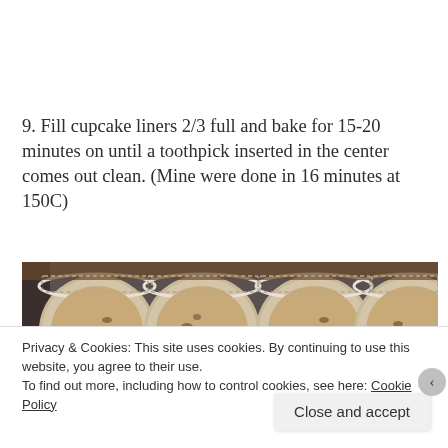9. Fill cupcake liners 2/3 full and bake for 15-20 minutes on until a toothpick inserted in the center comes out clean. (Mine were done in 16 minutes at 150C)
[Figure (photo): Four cupcake liners filled with muffin batter in a dark metal muffin pan, viewed from above]
Privacy & Cookies: This site uses cookies. By continuing to use this website, you agree to their use.
To find out more, including how to control cookies, see here: Cookie Policy
Close and accept